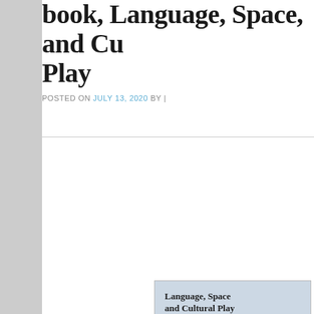book, Language, Space, and Cultural Play
POSTED ON JULY 13, 2020 BY |
[Figure (photo): Book cover of 'Language, Space and Cultural Play: Theorising Affect in the Semiotic Landscape' by Lionel Wee and Robbie B.H. Goh. Cover shows the book title in bold, subtitle and authors, with a photograph of a scenic road leading to a coastal valley with mountains, a green bus parked on the left, and people walking along the road.]